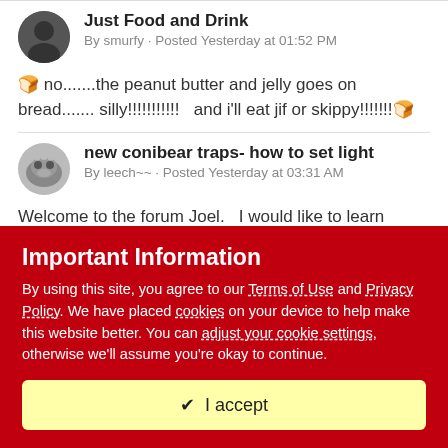[Figure (other): User avatar icon - dark circular avatar with person silhouette]
Just Food and Drink
By smurfy · Posted Yesterday at 01:52 PM
🍞 no.......the peanut butter and jelly goes on bread....... silly!!!!!!!!!!!   and i'll eat jif or skippy!!!!!!!🍞
[Figure (other): User avatar icon - circular avatar with animal photo]
new conibear traps- how to set light
By leech~~ · Posted Yesterday at 03:31 AM
Welcome to the forum Joel.   I would like to learn more. Could you post some pictures on how to make these trigger adjustments?
Important Information
By using this site, you agree to our Terms of Use and Privacy Policy. We have placed cookies on your device to help make this website better. You can adjust your cookie settings, otherwise we'll assume you're okay to continue.
✔  I accept